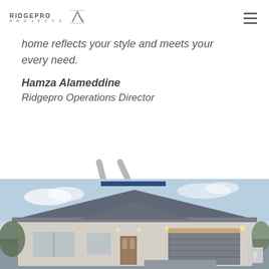RIDGEPRO PROJECTS
home reflects your style and meets your every need.
Hamza Alameddine
Ridgepro Operations Director
[Figure (illustration): Decorative slash/arrow graphic in grey]
[Figure (photo): Exterior photo of a modern single-storey house with grey roof, rendered walls, and landscaping]